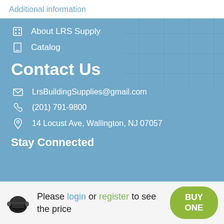Additional information
About LRS Supply
Catalog
Contact Us
LrsBuildingSupplies@gmail.com
(201) 791-9800
14 Locust Ave, Wallington, NJ 07057
Stay Connected
Please login or register to see the price
BUY ONE